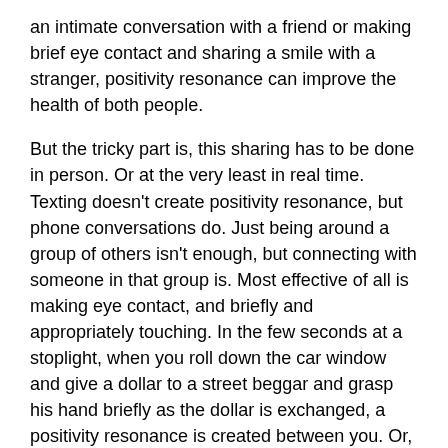an intimate conversation with a friend or making brief eye contact and sharing a smile with a stranger, positivity resonance can improve the health of both people.
But the tricky part is, this sharing has to be done in person. Or at the very least in real time. Texting doesn't create positivity resonance, but phone conversations do. Just being around a group of others isn't enough, but connecting with someone in that group is. Most effective of all is making eye contact, and briefly and appropriately touching. In the few seconds at a stoplight, when you roll down the car window and give a dollar to a street beggar and grasp his hand briefly as the dollar is exchanged, a positivity resonance is created between you. Or, at that same stoplight, if you turn to the driver of the car next to you and offer a smile that is returned, the resonance happens.
So what can we do about the problems of our social margins?
By definition, social margins are where people are divided off